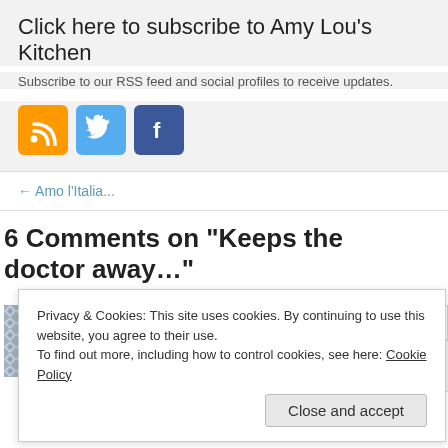Click here to subscribe to Amy Lou's Kitchen
Subscribe to our RSS feed and social profiles to receive updates.
[Figure (other): Social media icons: RSS (orange), Twitter (blue bird), Facebook (blue f)]
← Amo l'Italia...
6 Comments on “Keeps the doctor away...”
[Figure (other): User avatar with geometric pattern]
Chris Markenson
Privacy & Cookies: This site uses cookies. By continuing to use this website, you agree to their use.
To find out more, including how to control cookies, see here: Cookie Policy
Close and accept